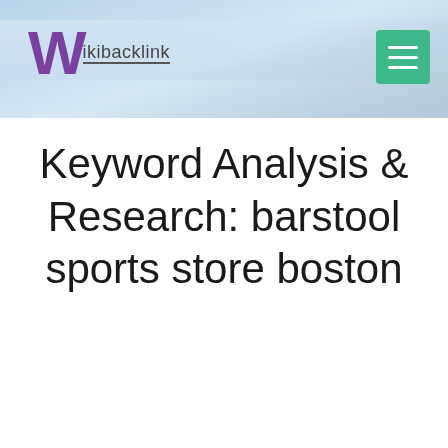[Figure (logo): Wikibacklink logo: large purple W with 'ikibacklink' text and underline on a sky background header]
Keyword Analysis & Research: barstool sports store boston